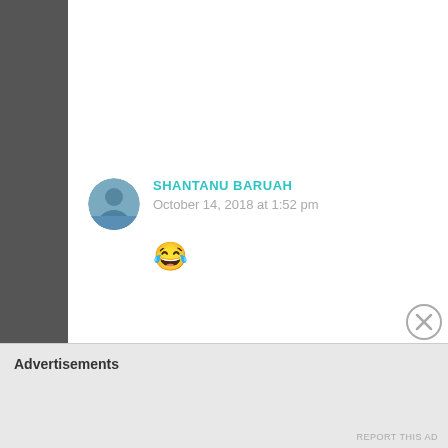SHANTANU BARUAH
October 14, 2018 at 1:52 pm
😂
Loading...
SHANTANU BARUAH
October 14, 2018 at 1:52 pm
Advertisements